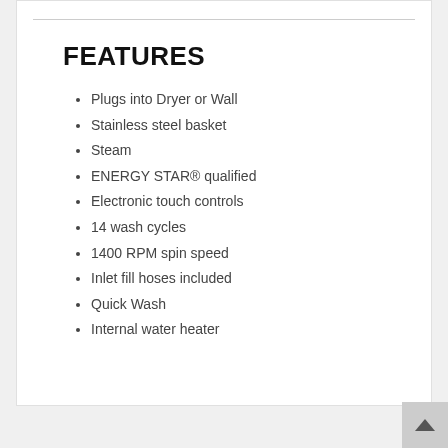FEATURES
Plugs into Dryer or Wall
Stainless steel basket
Steam
ENERGY STAR® qualified
Electronic touch controls
14 wash cycles
1400 RPM spin speed
Inlet fill hoses included
Quick Wash
Internal water heater